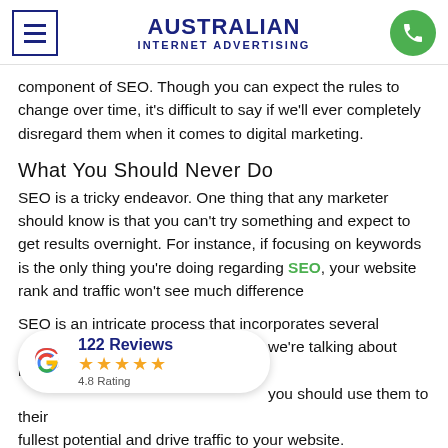AUSTRALIAN INTERNET ADVERTISING
component of SEO. Though you can expect the rules to change over time, it's difficult to say if we'll ever completely disregard them when it comes to digital marketing.
What You Should Never Do
SEO is a tricky endeavor. One thing that any marketer should know is that you can't try something and expect to get results overnight. For instance, if focusing on keywords is the only thing you're doing regarding SEO, your website rank and traffic won't see much difference
SEO is an intricate process that incorporates several [factors]. we're talking about keywords [and] how you should use them to their fullest potential and drive traffic to your website.
[Figure (other): Google Reviews badge showing 122 Reviews with 4.8 Rating and star icons]